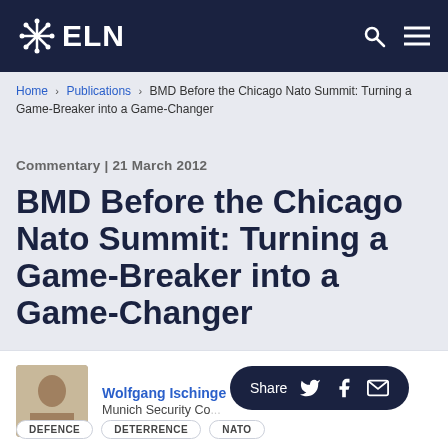ELN
Home > Publications > BMD Before the Chicago Nato Summit: Turning a Game-Breaker into a Game-Changer
Commentary | 21 March 2012
BMD Before the Chicago Nato Summit: Turning a Game-Breaker into a Game-Changer
Wolfgang Ischinger
Munich Security Co...
DEFENCE   DETERRENCE   NATO